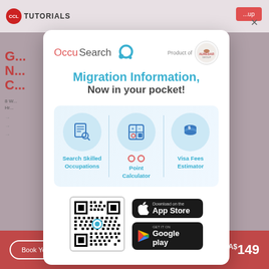[Figure (screenshot): Background website page from CCL Tutorials with navigation bar, partial article heading, and bottom booking bar showing 'Book Your Slot Now' and 'A$149']
[Figure (infographic): OccuSearch app promotional modal dialog with logo, 'Migration Information, Now in your pocket!' headline, three feature icons (Search Skilled Occupations, Point Calculator, Visa Fees Estimator), QR code, and app store download buttons for App Store and Google Play]
Migration Information, Now in your pocket!
Search Skilled Occupations
Point Calculator
Visa Fees Estimator
[Figure (other): QR code for downloading the OccuSearch app]
[Figure (other): Download on the App Store button]
[Figure (other): Get it on Google Play button]